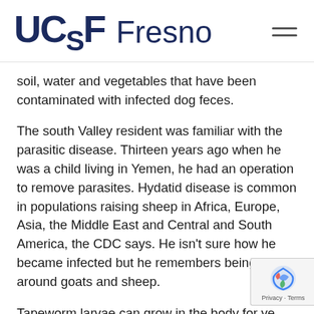UCSF Fresno
soil, water and vegetables that have been contaminated with infected dog feces.
The south Valley resident was familiar with the parasitic disease. Thirteen years ago when he was a child living in Yemen, he had an operation to remove parasites. Hydatid disease is common in populations raising sheep in Africa, Europe, Asia, the Middle East and Central and South America, the CDC says. He isn't sure how he became infected but he remembers being around goats and sheep.
Tapeworm larvae can grow in the body for years before symptoms appear. Somehow during his operation in Yemen a decade ago, a few